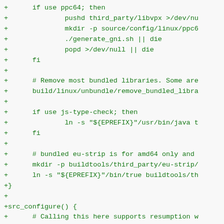[Figure (other): Diff/patch code block showing shell script additions in green monospace text. Lines begin with '+' markers indicating added lines in a version control diff.]